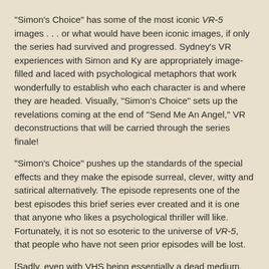"Simon's Choice" has some of the most iconic VR-5 images . . . or what would have been iconic images, if only the series had survived and progressed. Sydney's VR experiences with Simon and Ky are appropriately image-filled and laced with psychological metaphors that work wonderfully to establish who each character is and where they are headed. Visually, "Simon's Choice" sets up the revelations coming at the end of "Send Me An Angel," VR deconstructions that will be carried through the series finale!
"Simon's Choice" pushes up the standards of the special effects and they make the episode surreal, clever, witty and satirical alternatively. The episode represents one of the best episodes this brief series ever created and it is one that anyone who likes a psychological thriller will like. Fortunately, it is not so esoteric to the universe of VR-5, that people who have not seen prior episodes will be lost.
[Sadly, even with VHS being essentially a dead medium, the VR.5 DVD set is out of print and hard to come by. Still, for those interested in it, please check out my overview of the